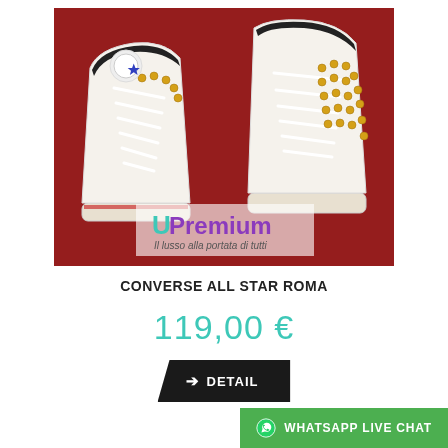[Figure (photo): Two white Converse All Star high-top sneakers with gold studs, displayed on a red background. UPremium logo watermark overlay at bottom of image.]
CONVERSE ALL STAR ROMA
119,00 €
➔ DETAIL
WHATSAPP LIVE CHAT